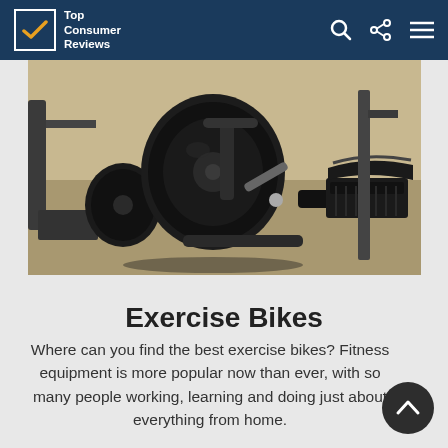Top Consumer Reviews
[Figure (photo): Close-up photo of exercise bike equipment in a gym/home setting, showing the flywheel, pedals, and frame of a stationary bike]
Exercise Bikes
Where can you find the best exercise bikes? Fitness equipment is more popular now than ever, with so many people working, learning and doing just about everything from home.